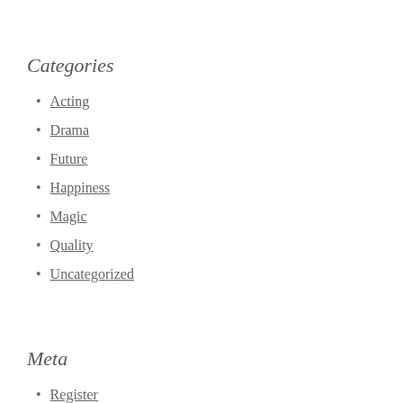Categories
Acting
Drama
Future
Happiness
Magic
Quality
Uncategorized
Meta
Register
Log in